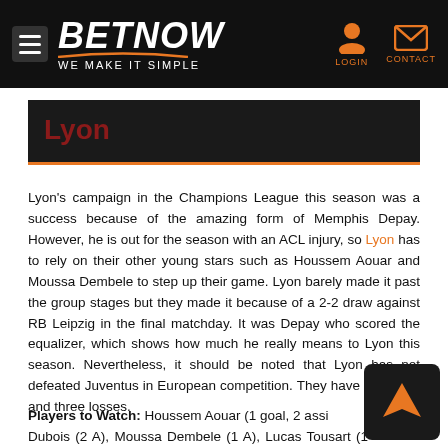BETNOW — WE MAKE IT SIMPLE | LOGIN | CONTACT
Lyon
Lyon's campaign in the Champions League this season was a success because of the amazing form of Memphis Depay. However, he is out for the season with an ACL injury, so Lyon has to rely on their other young stars such as Houssem Aouar and Moussa Dembele to step up their game. Lyon barely made it past the group stages but they made it because of a 2-2 draw against RB Leipzig in the final matchday. It was Depay who scored the equalizer, which shows how much he really means to Lyon this season. Nevertheless, it should be noted that Lyon has not defeated Juventus in European competition. They have one draw and three losses.
Players to Watch: Houssem Aouar (1 goal, 2 assi... Dubois (2 A), Moussa Dembele (1 A), Lucas Tousart (1 A), ...